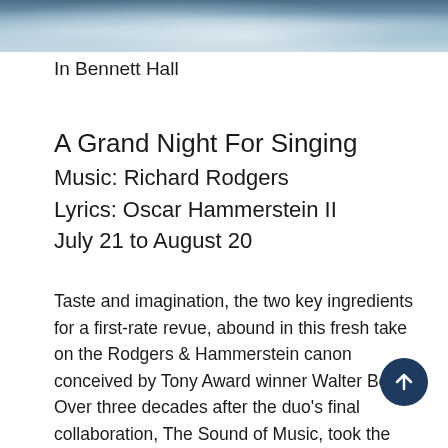[Figure (photo): Sky with clouds, blueish sky background forming a banner image at the top of the page]
In Bennett Hall
A Grand Night For Singing
Music: Richard Rodgers
Lyrics: Oscar Hammerstein II
July 21 to August 20
Taste and imagination, the two key ingredients for a first-rate revue, abound in this fresh take on the Rodgers & Hammerstein canon conceived by Tony Award winner Walter Bobbie. Over three decades after the duo's final collaboration, The Sound of Music, took the Great White Way by storm, this new R&H musical opened the 1994 Broadway season with flair and distinction, garnering wildly enthusiastic notices as well as earning two Tony nominations, including Best Musical. Richard Rodgers